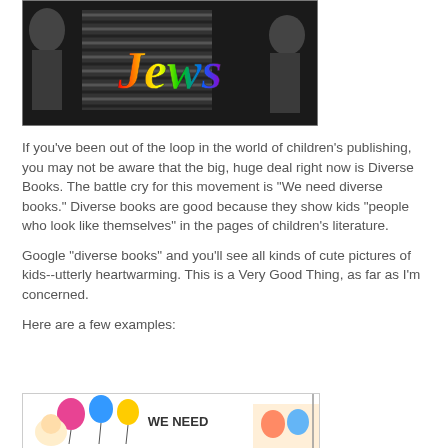[Figure (photo): Black and white photo of people with colorful rainbow-styled text overlay reading 'Jews']
If you've been out of the loop in the world of children's publishing, you may not be aware that the big, huge deal right now is Diverse Books. The battle cry for this movement is "We need diverse books."  Diverse books are good because they show kids "people who look like themselves" in the pages of children's literature.
Google "diverse books" and you'll see all kinds of cute pictures of kids--utterly heartwarming.  This is a Very Good Thing, as far as I'm concerned.
Here are a few examples:
[Figure (photo): Colorful illustration with balloons and cartoon characters with text 'WE NEED' visible, partial view of a children's book cover about diverse books]